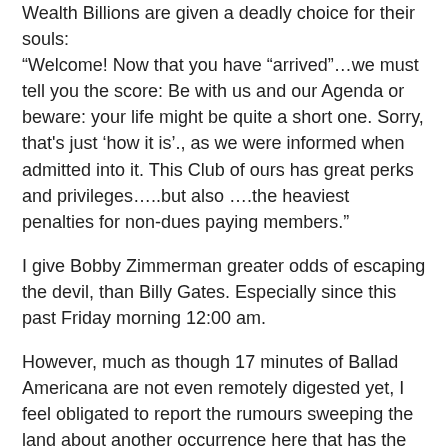Wealth Billions are given a deadly choice for their souls: “Welcome! Now that you have “arrived”…we must tell you the score: Be with us and our Agenda or beware: your life might be quite a short one. Sorry, that’s just ‘how it is’., as we were informed when admitted into it. This Club of ours has great perks and privileges…..but also ….the heaviest penalties for non-dues paying members.”
I give Bobby Zimmerman greater odds of escaping the devil, than Billy Gates. Especially since this past Friday morning 12:00 am.
However, much as though 17 minutes of Ballad Americana are not even remotely digested yet, I feel obligated to report the rumours sweeping the land about another occurrence here that has the more alert and less discouraged victims of Empire Rule by Private Central Banks……Daring to Dream Along With Dave:
https://youtu.be/V6jfrDR9oaQ
Message Sent [P], Panic Everywhere, Puzzle Almost Complete – Episode 2133b
The basic idea is the Helicopter Money Corona Bailout will